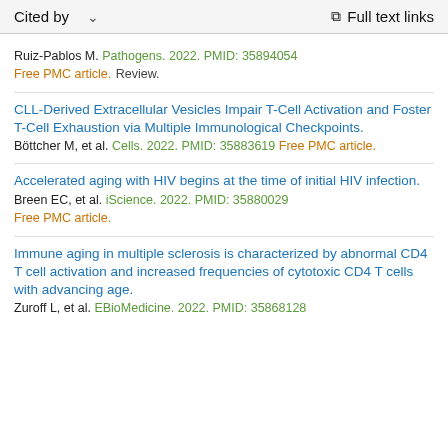Cited by   ∨   Full text links
Ruiz-Pablos M. Pathogens. 2022. PMID: 35894054
Free PMC article. Review.
CLL-Derived Extracellular Vesicles Impair T-Cell Activation and Foster T-Cell Exhaustion via Multiple Immunological Checkpoints.
Böttcher M, et al. Cells. 2022. PMID: 35883619 Free PMC article.
Accelerated aging with HIV begins at the time of initial HIV infection.
Breen EC, et al. iScience. 2022. PMID: 35880029
Free PMC article.
Immune aging in multiple sclerosis is characterized by abnormal CD4 T cell activation and increased frequencies of cytotoxic CD4 T cells with advancing age.
Zuroff L, et al. EBioMedicine. 2022. PMID: 35868128